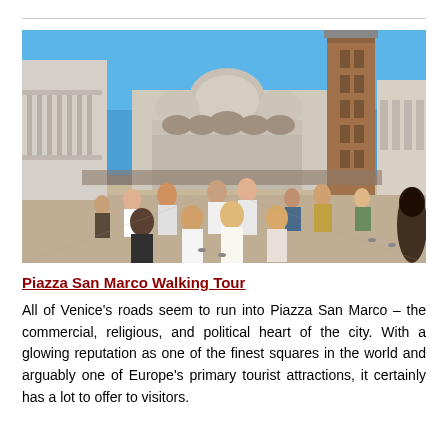[Figure (photo): Piazza San Marco in Venice, Italy. The square is filled with tourists walking around. St. Mark's Basilica is visible in the background with its ornate domes, and the tall Campanile bell tower stands prominently to the right. Colonnaded buildings line the left side. Clear blue sky above.]
Piazza San Marco Walking Tour
All of Venice's roads seem to run into Piazza San Marco – the commercial, religious, and political heart of the city. With a glowing reputation as one of the finest squares in the world and arguably one of Europe's primary tourist attractions, it certainly has a lot to offer to visitors.